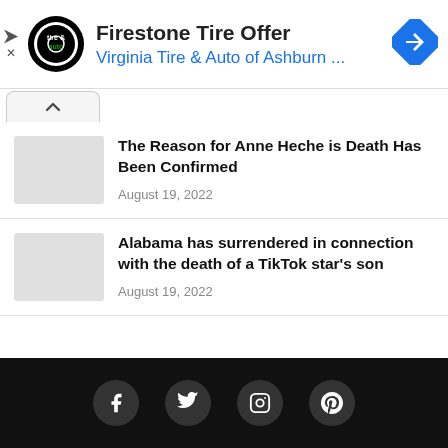[Figure (screenshot): Ad banner: Firestone Tire Offer from Virginia Tire & Auto of Ashburn with logo and navigation icon]
The Reason for Anne Heche is Death Has Been Confirmed
August 19, 2022
Alabama has surrendered in connection with the death of a TikTok star's son
August 19, 2022
Social media icons: Facebook, Twitter, Instagram, Pinterest